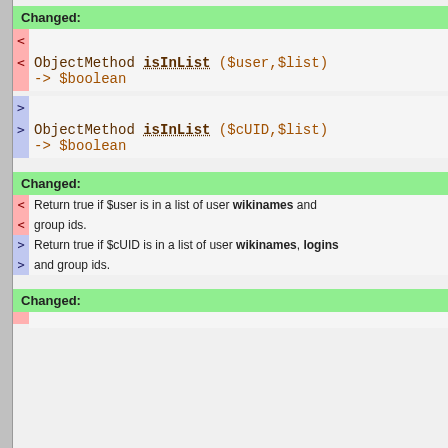Changed:
< ObjectMethod isInList ($user,$list) -> $boolean
> ObjectMethod isInList ($cUID,$list) -> $boolean
Changed:
< Return true if $user is in a list of user wikinames and group ids.
> Return true if $cUID is in a list of user wikinames, logins and group ids.
Changed: